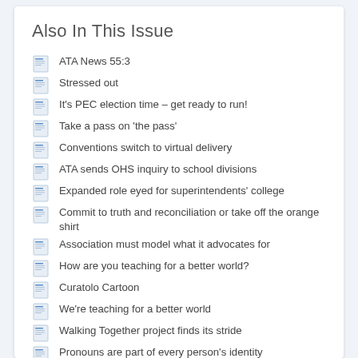Also In This Issue
ATA News 55:3
Stressed out
It's PEC election time – get ready to run!
Take a pass on 'the pass'
Conventions switch to virtual delivery
ATA sends OHS inquiry to school divisions
Expanded role eyed for superintendents' college
Commit to truth and reconciliation or take off the orange shirt
Association must model what it advocates for
How are you teaching for a better world?
Curatolo Cartoon
We're teaching for a better world
Walking Together project finds its stride
Pronouns are part of every person's identity
I met a kid named James
Ready... Set... Grow
Council establishes guidelines for meeting attendance
ATA expands its online PD offerings
U of C researcher receives Educational Research Award